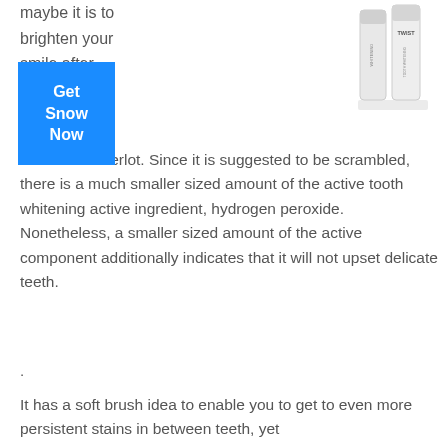Maybe it is to brighten your smile after using coffee or merlot.
[Figure (photo): Product image of TWIST teeth whitening pen, two slim white cylindrical tubes]
Get Snow Now
e coffee or merlot. Since it is suggested to be scrambled, there is a much smaller sized amount of the active tooth whitening active ingredient, hydrogen peroxide. Nonetheless, a smaller sized amount of the active component additionally indicates that it will not upset delicate teeth.
.
It has a soft brush idea to enable you to get to even more persistent stains in between teeth, yet